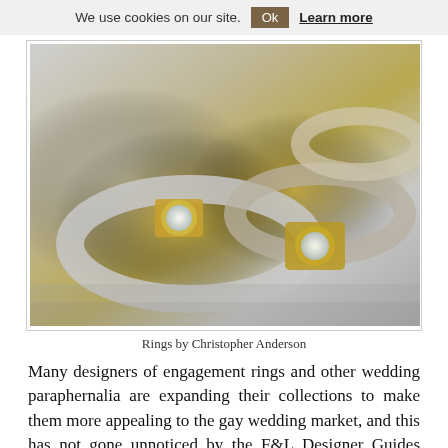We use cookies on our site.  Ok  Learn more
[Figure (photo): Photo of designer rings — silver and gold bands with diamond settings by Christopher Anderson, stacked together on a reflective surface.]
Rings by Christopher Anderson
Many designers of engagement rings and other wedding paraphernalia are expanding their collections to make them more appealing to the gay wedding market, and this has not gone unnoticed by the F&L Designer Guides team who are pleased to announce that Christopher Anderson, one of their high profile designers is aiming to promote more of his designs as desirable for gay engagement ring